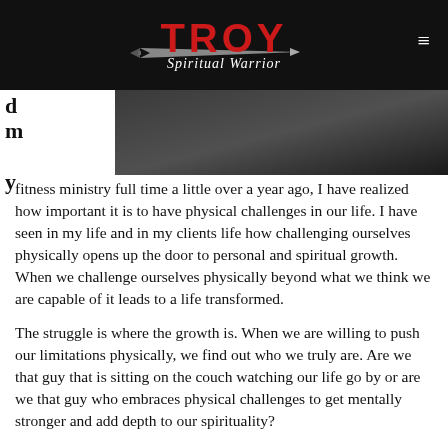[Figure (logo): Troy Spiritual Warrior logo with red TROY text and sword graphic on black background]
[Figure (photo): Dark hero image, partially visible, showing a dimly lit scene]
d
m
y
fitness ministry full time a little over a year ago, I have realized how important it is to have physical challenges in our life.  I have seen in my life and in my clients life how challenging ourselves physically opens up the door to personal and spiritual growth.  When we challenge ourselves physically beyond what we think we are capable of it leads to a life transformed.
The struggle is where the growth is.   When we are willing to push our limitations physically, we find out who we truly are.   Are we that guy that is sitting on the couch watching our life go by or are we that guy who embraces physical challenges to get mentally stronger and add depth to our spirituality?